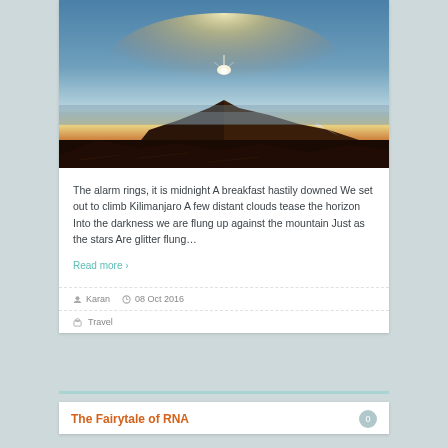[Figure (photo): Sunrise or sunset viewed from a high mountain peak, likely Kilimanjaro, with rocky terrain in foreground and clouds below the horizon]
The alarm rings, it is midnight A breakfast hastily downed We set out to climb Kilimanjaro A few distant clouds tease the horizon Into the darkness we are flung up against the mountain Just as the stars Are glitter flung…
Read more ›
Karan  08 Oct 2016
Travel
The Fairytale of RNA